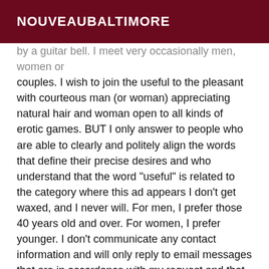NOUVEAUBALTIMORE
by a guitar bell. I meet very occasionally men, women or couples. I wish to join the useful to the pleasant with courteous man (or woman) appreciating natural hair and woman open to all kinds of erotic games. BUT I only answer to people who are able to clearly and politely align the words that define their precise desires and who understand that the word "useful" is related to the category where this ad appears I don't get waxed, and I never will. For men, I prefer those 40 years old and over. For women, I prefer younger. I don't communicate any contact information and will only reply to email messages that are in accordance with my request and that are likely to interest me, by their content and specific proposals. I apologize to those to whom I will not answer. Priority will be given to messages accompanied by a photo (the one of your gender, gentlemen, is not desired). On the other hand, please be very precise in your request and if possible reach me by phone. I do not